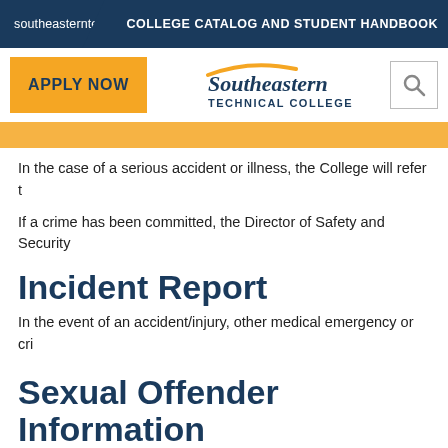southeasterntech.edu   COLLEGE CATALOG AND STUDENT HANDBOOK
[Figure (logo): Southeastern Technical College logo with APPLY NOW button and search icon]
In the case of a serious accident or illness, the College will refer t
If a crime has been committed, the Director of Safety and Security
Incident Report
In the event of an accident/injury, other medical emergency or cri
Sexual Offender Information